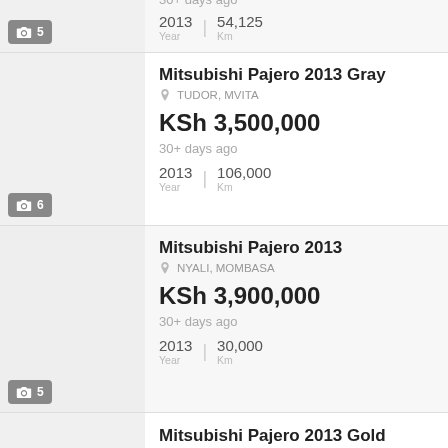30+ days ago
2013  Year  |  54,125  Km
Mitsubishi Pajero 2013 Gray
TUDOR, MVITA
KSh 3,500,000
30+ days ago
2013  Year  |  106,000  Km
Mitsubishi Pajero 2013
NYALI, MOMBASA
KSh 3,900,000
30+ days ago
2013  Year  |  30,000  Km
Mitsubishi Pajero 2013 Gold
NYALI, MOMBASA